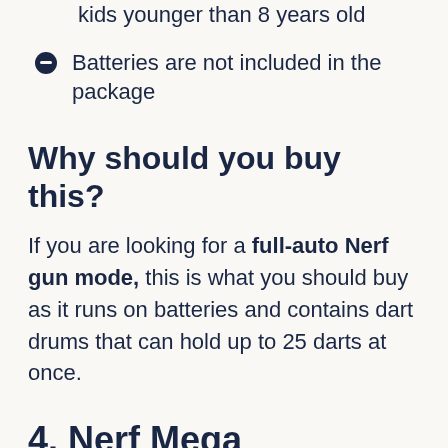kids younger than 8 years old
Batteries are not included in the package
Why should you buy this?
If you are looking for a full-auto Nerf gun mode, this is what you should buy as it runs on batteries and contains dart drums that can hold up to 25 darts at once.
4. Nerf Mega Mastodon Toy Automatic Blaster: